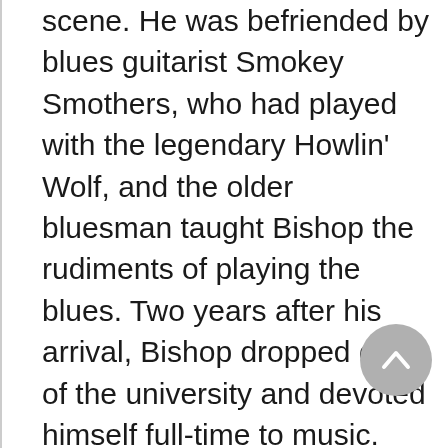scene. He was befriended by blues guitarist Smokey Smothers, who had played with the legendary Howlin' Wolf, and the older bluesman taught Bishop the rudiments of playing the blues. Two years after his arrival, Bishop dropped out of the university and devoted himself full-time to music. During this period Bishop honed his craft playing with numerous blues artists including Junior Wells and Hound Dog Taylor. He soon joined up with another white blues fan and